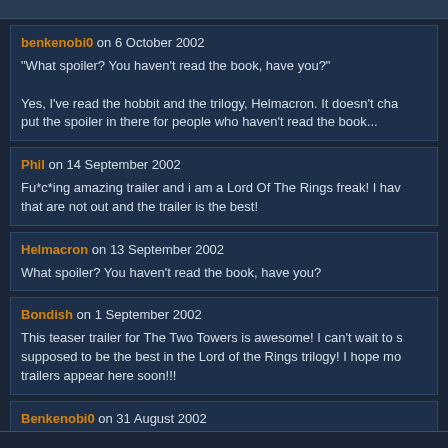benkenobi0 on 6 October 2002
"What spoiler? You haven't read the book, have you?"

Yes, I've read the hobbit and the trilogy, Helmacron. It doesn't cha put the spoiler in there for people who haven't read the book...
Phil on 14 September 2002
Fu*c*ing amazing trailer and i am a Lord Of The Rings freak! I hav that are not out and the trailer is the best!
Helmacron on 13 September 2002
What spoiler? You haven't read the book, have you?
Bondish on 1 September 2002
This teaser trailer for The Two Towers is awesome! I can't wait to s supposed to be the best in the Lord of the Rings trilogy! I hope mo trailers appear here soon!!!
Benkenobi0 on 31 August 2002
I can't believe they put that huge spoiler in the trailer!